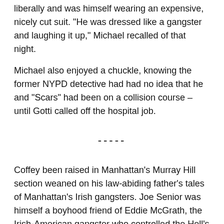liberally and was himself wearing an expensive, nicely cut suit. "He was dressed like a gangster and laughing it up," Michael recalled of that night.
Michael also enjoyed a chuckle, knowing the former NYPD detective had had no idea that he and "Scars" had been on a collision course – until Gotti called off the hospital job.
-----
Coffey been raised in Manhattan's Murray Hill section weaned on his law-abiding father's tales of Manhattan's Irish gangsters. Joe Senior was himself a boyhood friend of Eddie McGrath, the Irish-American gangster who controlled the Hell's Kitchen Irish Mob as well as the West Side waterfront during the 1940s.